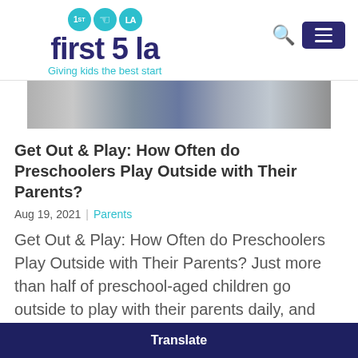[Figure (logo): First 5 LA logo with tagline 'Giving kids the best start', teal circles with 1st, hand, LA icons, dark navy bold text 'first 5 la']
[Figure (photo): Partial photo strip showing children and parents playing outside, close-up of torsos/clothing]
Get Out & Play: How Often do Preschoolers Play Outside with Their Parents?
Aug 19, 2021 | Parents
Get Out & Play: How Often do Preschoolers Play Outside with Their Parents? Just more than half of preschool-aged children go outside to play with their parents daily, and
Translate